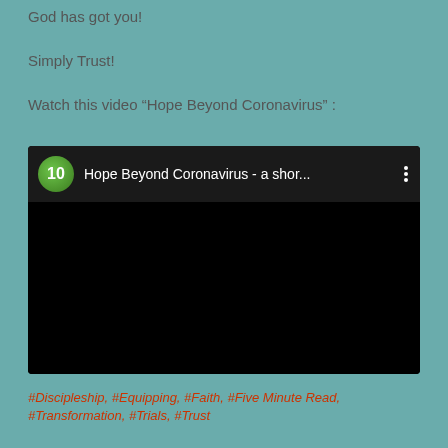God has got you!
Simply Trust!
Watch this video “Hope Beyond Coronavirus” :
[Figure (screenshot): A YouTube video embed showing a video titled 'Hope Beyond Coronavirus - a shor...' with a green circular channel icon showing the number 10, on a black background.]
#Discipleship, #Equipping, #Faith, #Five Minute Read, #Transformation, #Trials, #Trust